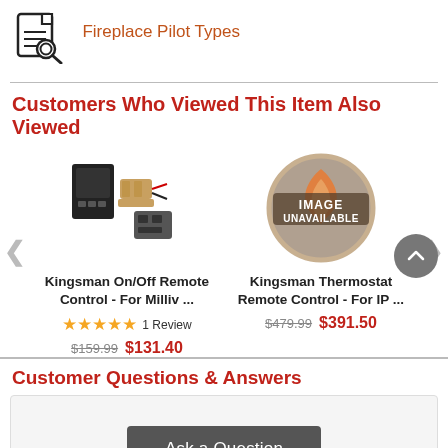[Figure (logo): Document search icon with magnifying glass]
Fireplace Pilot Types
Customers Who Viewed This Item Also Viewed
[Figure (photo): Kingsman On/Off Remote Control product photo - black electronic components]
Kingsman On/Off Remote Control - For Milliv ...
★★★★★ 1 Review
$159.99 $131.40
[Figure (photo): Image Unavailable placeholder with flame icon]
Kingsman Thermostat Remote Control - For IP ...
$479.99 $391.50
Customer Questions & Answers
Ask a Question